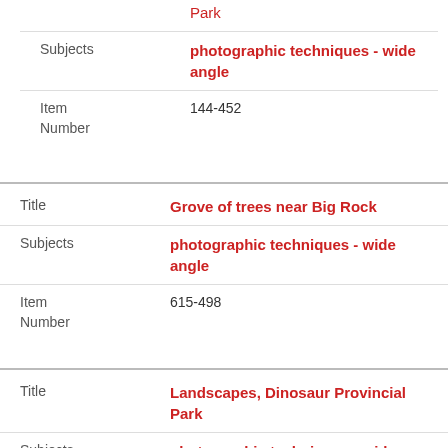Park
Subjects: photographic techniques - wide angle
Item Number: 144-452
Title: Grove of trees near Big Rock
Subjects: photographic techniques - wide angle
Item Number: 615-498
Title: Landscapes, Dinosaur Provincial Park
Subjects: photographic techniques - wide angle